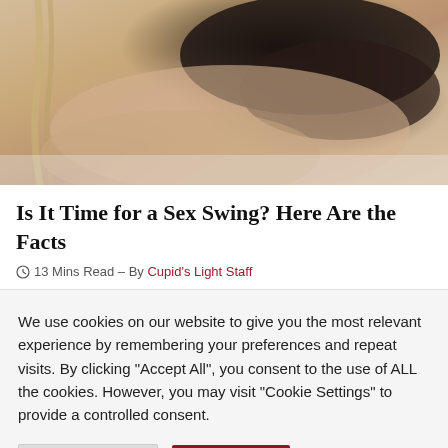[Figure (photo): A photo showing a person in black lace lingerie lying on a white fur surface with rope visible on the left side.]
Is It Time for a Sex Swing? Here Are the Facts
13 Mins Read – By Cupid's Light Staff
We use cookies on our website to give you the most relevant experience by remembering your preferences and repeat visits. By clicking "Accept All", you consent to the use of ALL the cookies. However, you may visit "Cookie Settings" to provide a controlled consent.